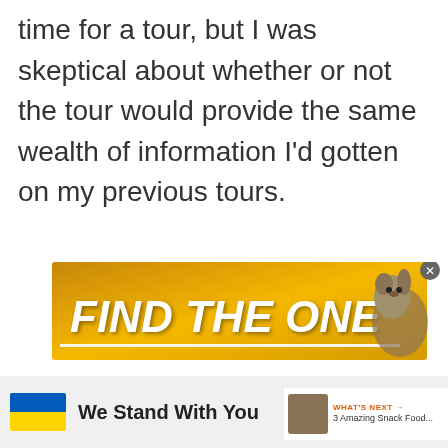time for a tour, but I was skeptical about whether or not the tour would provide the same wealth of information I'd gotten on my previous tours.
[Figure (screenshot): Banner advertisement with gold/yellow background reading 'FIND THE ONE' in large white italic bold text with a dog image on the right side and a close X button. A heart icon, count of 675, and share icon appear to the right of the banner.]
[Figure (infographic): Bottom advertisement showing Ukrainian flag (blue and yellow) with text 'We Stand With You' and close buttons.]